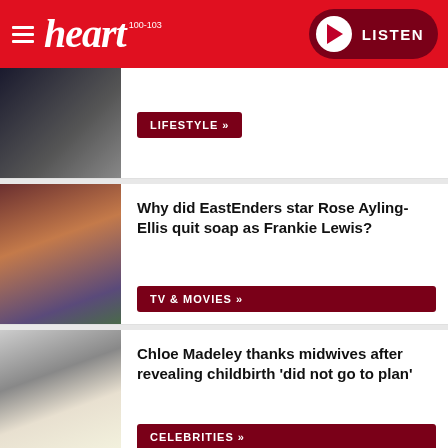heart 100-103 LISTEN
[Figure (photo): Partial article card with couple in formal wear]
LIFESTYLE »
[Figure (photo): EastEnders related image]
Why did EastEnders star Rose Ayling-Ellis quit soap as Frankie Lewis?
TV & MOVIES »
[Figure (photo): Chloe Madeley photo collage]
Chloe Madeley thanks midwives after revealing childbirth 'did not go to plan'
CELEBRITIES »
[Figure (photo): The Suspect TV show image]
The Suspect episode guide: How many episodes of the ITV drama are there and when